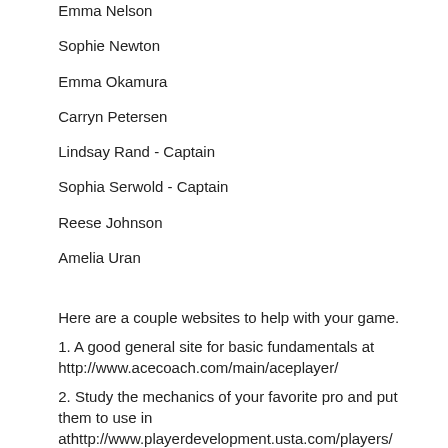Emma Nelson
Sophie Newton
Emma Okamura
Carryn Petersen
Lindsay Rand - Captain
Sophia Serwold - Captain
Reese Johnson
Amelia Uran
Here are a couple websites to help with your game.
1. A good general site for basic fundamentals at http://www.acecoach.com/main/aceplayer/
2. Study the mechanics of your favorite pro and put them to use in athttp://www.playerdevelopment.usta.com/players/